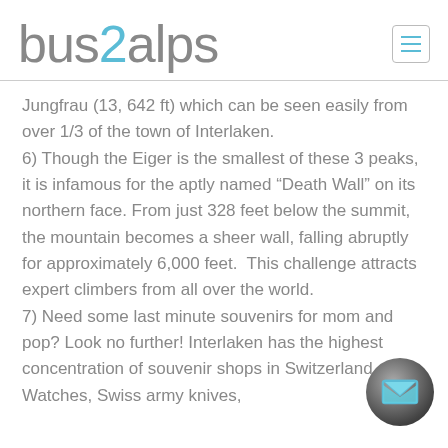bus2alps
Jungfrau (13, 642 ft) which can be seen easily from over 1/3 of the town of Interlaken.
6) Though the Eiger is the smallest of these 3 peaks, it is infamous for the aptly named “Death Wall” on its northern face. From just 328 feet below the summit, the mountain becomes a sheer wall, falling abruptly for approximately 6,000 feet.  This challenge attracts expert climbers from all over the world.
7) Need some last minute souvenirs for mom and pop? Look no further! Interlaken has the highest concentration of souvenir shops in Switzerland.  Watches, Swiss army knives,